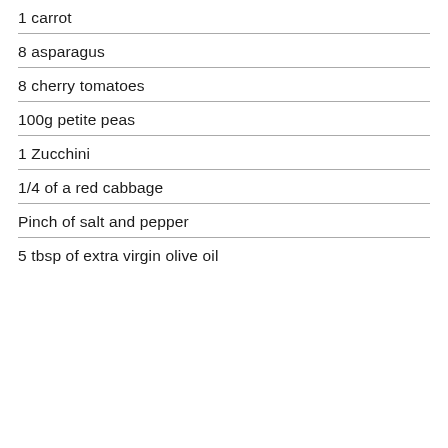1 carrot
8 asparagus
8 cherry tomatoes
100g petite peas
1 Zucchini
1/4 of a red cabbage
Pinch of salt and pepper
5 tbsp of extra virgin olive oil